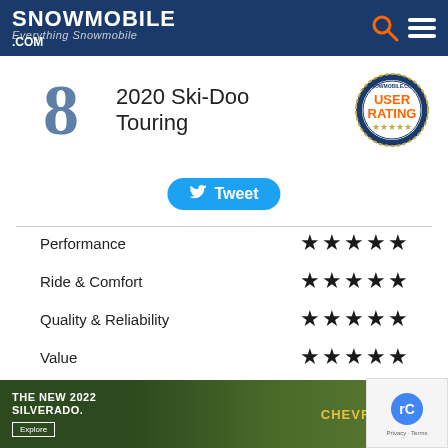SNOWMOBILE.COM Everything Snowmobile
[Figure (illustration): Large numeral '8' in steel blue, representing the overall rating score]
2020 Ski-Doo Touring
[Figure (logo): Snowmobile.com User Rating badge seal]
Tweet
| Category | Rating |
| --- | --- |
| Performance | ★★★★★ |
| Ride & Comfort | ★★★★★ |
| Quality & Reliability | ★★★★★ |
| Value | ★★★★★ |
2020 Ski-Doo Expedition® LE 900 ACE Turbo Reviews
View All 2020 Ski-Doo Expedition® LE 900 ACE Turbo Reviews
[Figure (screenshot): Advertisement for The New 2022 Silverado by Chevrolet]